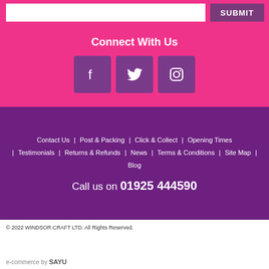[Figure (screenshot): Email input field and submit button on pink background]
Connect With Us
[Figure (infographic): Social media icons for Facebook, Twitter, and Instagram in purple squares]
Contact Us | Post & Packing | Click & Collect | Opening Times | Testimonials | Returns & Refunds | News | Terms & Conditions | Site Map | Blog
Call us on 01925 444590
© 2022 WINDSOR CRAFT LTD. All Rights Reserved.
e-commerce by SAYU